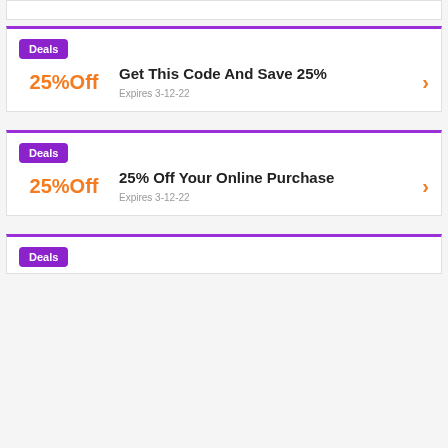[Figure (other): Top stub card partially visible at top of page]
Deals
Get This Code And Save 25%
Expires 3-12-22
25%Off
Deals
25% Off Your Online Purchase
Expires 3-12-22
25%Off
Deals